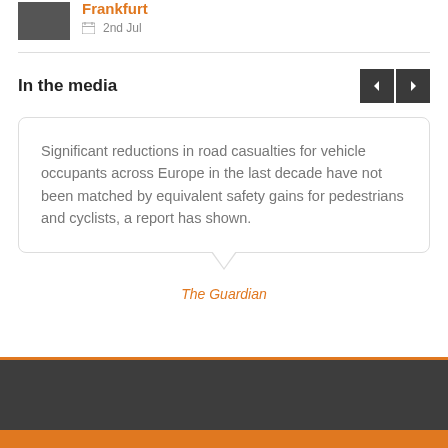[Figure (photo): Small thumbnail image of a vehicle]
Frankfurt
2nd Jul
In the media
Significant reductions in road casualties for vehicle occupants across Europe in the last decade have not been matched by equivalent safety gains for pedestrians and cyclists, a report has shown.
The Guardian